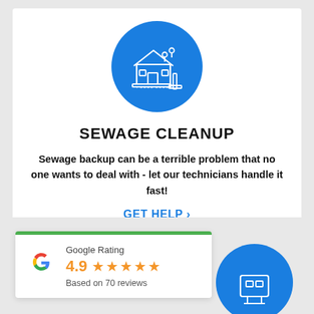[Figure (illustration): Blue circle icon with white line-art of a house with sewage/plumbing elements]
SEWAGE CLEANUP
Sewage backup can be a terrible problem that no one wants to deal with - let our technicians handle it fast!
GET HELP ›
[Figure (logo): Google Rating widget with Google G logo, score 4.9, 5 orange stars, and 'Based on 70 reviews']